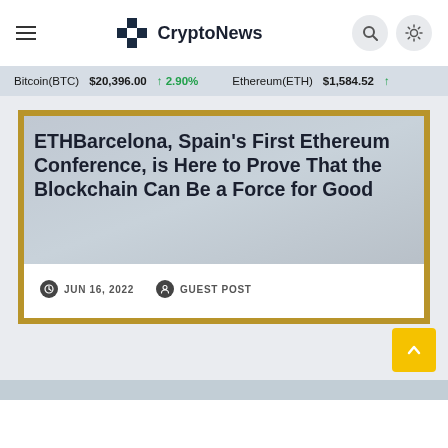CryptoNews
Bitcoin(BTC) $20,396.00 ↑ 2.90%   Ethereum(ETH) $1,584.52 ↑
ETHBarcelona, Spain's First Ethereum Conference, is Here to Prove That the Blockchain Can Be a Force for Good
JUN 16, 2022   GUEST POST